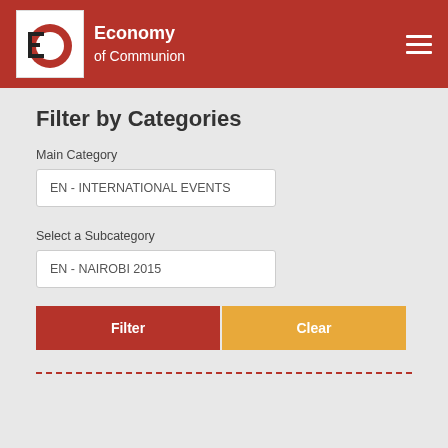[Figure (logo): Economy of Communion logo with EoC emblem and text 'Economy of Communion' in white on dark red header]
Filter by Categories
Main Category
EN - INTERNATIONAL EVENTS
Select a Subcategory
EN - NAIROBI 2015
Filter
Clear